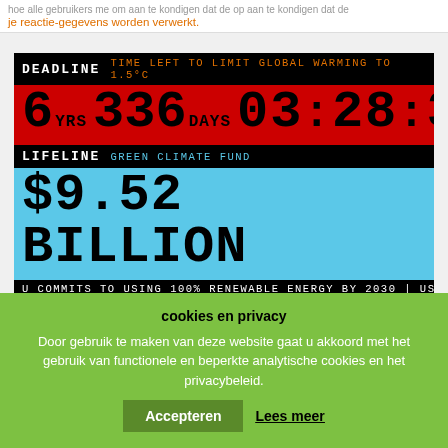hoe alle gebruikers me om aan te kondigen dat de op | je reactie-gegevens worden verwerkt.
[Figure (infographic): Climate clock widget showing DEADLINE: TIME LEFT TO LIMIT GLOBAL WARMING TO 1.5°C — 6 YRS 336 DAYS 03:28:31 in red, and LIFELINE: GREEN CLIMATE FUND — $9.52 BILLION in blue, with ticker: U COMMITS TO USING 100% RENEWABLE ENERGY BY 2030 | US CONGRE]
U COMMITS TO USING 100% RENEWABLE ENERGY BY 2030 | US CONGRE
cookies en privacy
Door gebruik te maken van deze website gaat u akkoord met het gebruik van functionele en beperkte analytische cookies en het privacybeleid.
Accepteren   Lees meer